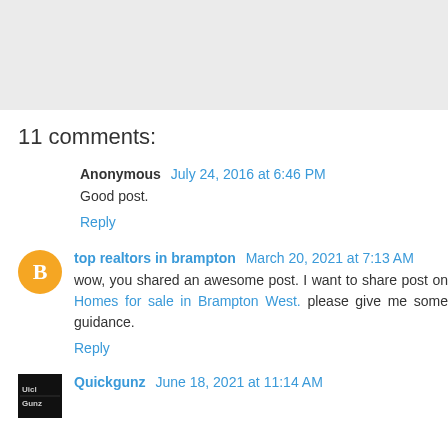[Figure (other): Gray banner/header area at the top of the page]
11 comments:
Anonymous  July 24, 2016 at 6:46 PM
Good post.
Reply
top realtors in brampton  March 20, 2021 at 7:13 AM
wow, you shared an awesome post. I want to share post on Homes for sale in Brampton West. please give me some guidance.
Reply
Quickgunz  June 18, 2021 at 11:14 AM